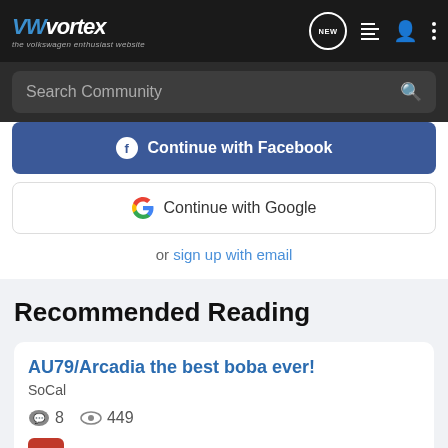VWvortex - the volkswagen enthusiast website
Search Community
[Figure (screenshot): Continue with Facebook button (blue)]
[Figure (screenshot): Continue with Google button (white with Google G logo)]
or sign up with email
Recommended Reading
AU79/Arcadia the best boba ever!
SoCal
8  449
SINNISTER · updated May 20, 2002